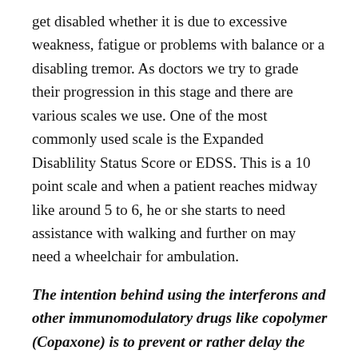get disabled whether it is due to excessive weakness, fatigue or problems with balance or a disabling tremor. As doctors we try to grade their progression in this stage and there are various scales we use. One of the most commonly used scale is the Expanded Disablility Status Score or EDSS. This is a 10 point scale and when a patient reaches midway like around 5 to 6, he or she starts to need assistance with walking and further on may need a wheelchair for ambulation.
The intention behind using the interferons and other immunomodulatory drugs like copolymer (Copaxone) is to prevent or rather delay the progression from a RRMS to a SPMS.
Hence the rationale behind treating all patients aggressively from the onset. Once the patient is in a